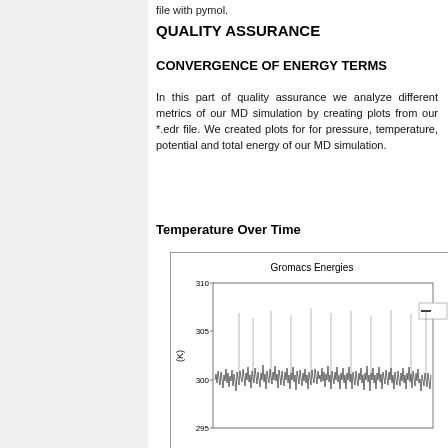file with pymol.
QUALITY ASSURANCE
CONVERGENCE OF ENERGY TERMS
In this part of quality assurance we analyze different metrics of our MD simulation by creating plots from our *.edr file. We created plots for for pressure, temperature, potential and total energy of our MD simulation.
Temperature Over Time
[Figure (continuous-plot): Line plot titled 'Gromacs Energies' showing temperature in Kelvin (K) on the y-axis ranging from approximately 295 to 310 K, with rapid fluctuations around 300 K over the simulation time. The signal appears dense and noisy, oscillating around 300 K.]